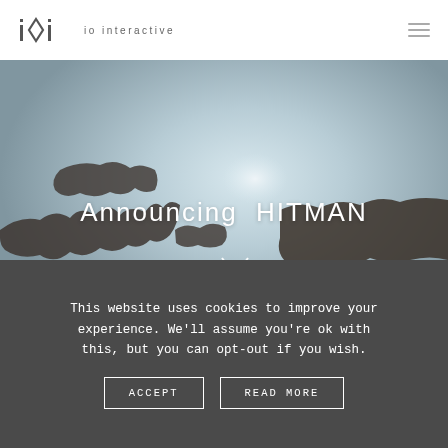io interactive
[Figure (illustration): 3D rendered globe/map showing Europe in muted blue-grey tones with location markers. Text overlay reads 'Announcing HITMAN' in white letters.]
Announcing HITMAN
This website uses cookies to improve your experience. We'll assume you're ok with this, but you can opt-out if you wish.
ACCEPT   READ MORE